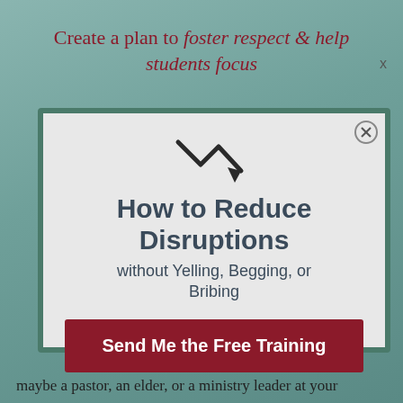Create a plan to foster respect & help students focus
[Figure (illustration): Downward trend arrow icon with zigzag drop pattern in dark charcoal color]
How to Reduce Disruptions
without Yelling, Begging, or Bribing
Send Me the Free Training
maybe a pastor, an elder, or a ministry leader at your